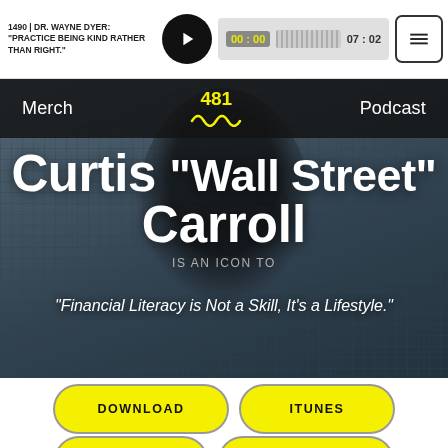1490 | DR. WAYNE DYER: "PRACTICE BEING KIND RATHER THAN RIGHT." 00:00 07:02
[Figure (screenshot): Navigation bar with Merch, logo wave mark with 481, and Podcast links on dark background]
[Figure (photo): Portrait photo of Curtis '\"Wall Street\"' Carroll overlaid with large white text. Dark background with mesh/grid texture.]
Curtis "Wall Street" Carroll
IS AN ICON TO
"Financial Literacy is Not a Skill, It's a Lifestyle."
DOWNLOAD
ITUNES
STITCHER
REVIEW IT
SPOTIFY